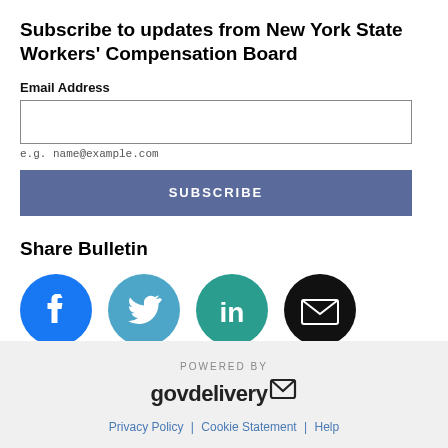Subscribe to updates from New York State Workers' Compensation Board
Email Address
e.g. name@example.com
SUBSCRIBE
Share Bulletin
[Figure (illustration): Social media share icons: Facebook (blue circle with f), Twitter (blue circle with bird), LinkedIn (teal circle with in), Email (black circle with envelope)]
POWERED BY GOVDELIVERY | Privacy Policy | Cookie Statement | Help